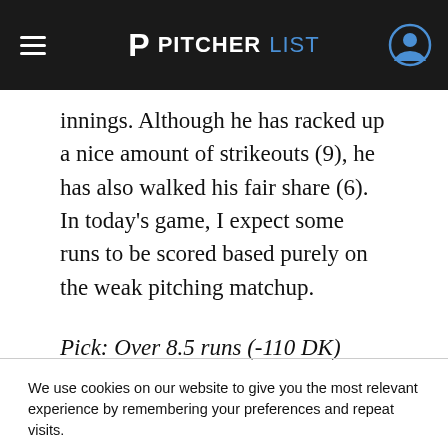PITCHERLIST
innings. Although he has racked up a nice amount of strikeouts (9), he has also walked his fair share (6). In today's game, I expect some runs to be scored based purely on the weak pitching matchup.
Pick: Over 8.5 runs (-110 DK)
We use cookies on our website to give you the most relevant experience by remembering your preferences and repeat visits.